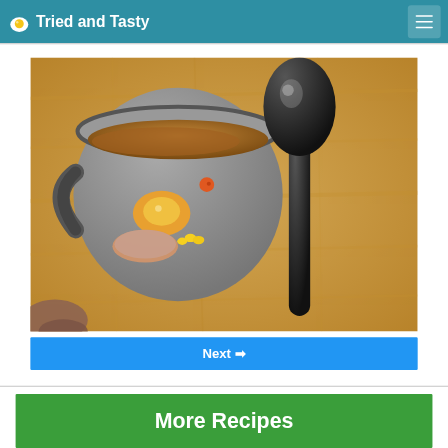Tried and Tasty
[Figure (photo): Overhead view of a ceramic mug filled with soup containing vegetables, corn, egg, and meat pieces, with a large black spoon beside it on a wooden cutting board]
Next →
More Recipes